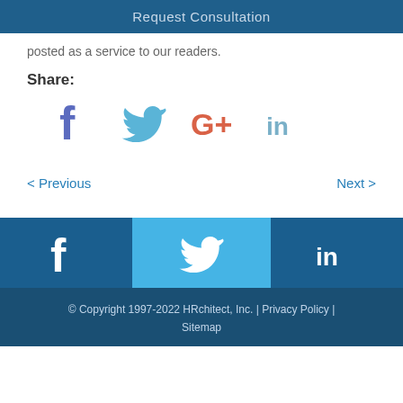Request Consultation
posted as a service to our readers.
Share:
[Figure (infographic): Social share icons: Facebook (purple/dark blue f), Twitter (light blue bird), Google+ (red/orange G+), LinkedIn (steel blue in)]
< Previous    Next >
[Figure (infographic): Footer social media icons row: Facebook (dark blue background, white f), Twitter (light blue background, white bird), LinkedIn (dark blue background, white in)]
© Copyright 1997-2022 HRchitect, Inc. | Privacy Policy | Sitemap